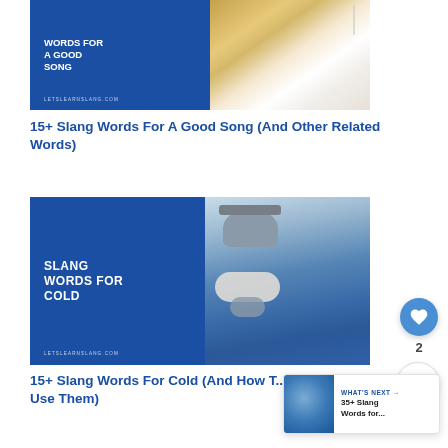[Figure (illustration): Blog post thumbnail image with blue left panel showing text 'WORDS FOR A GOOD SONG' and 'LETSLEARNSLANG.COM', and right panel showing a woman listening to music with headphones wearing a yellow/mustard sweater]
15+ Slang Words For A Good Song (And Other Related Words)
[Figure (illustration): Blog post thumbnail image with blue left panel showing text 'SLANG WORDS FOR COLD' and 'LETSLEARNSLANG.COM', and right panel showing a woman in winter clothes with a grey beanie hat and blue jacket]
15+ Slang Words For Cold (And How To Use Them)
[Figure (other): What's Next panel with thumbnail and text '35+ Slang Words for...']